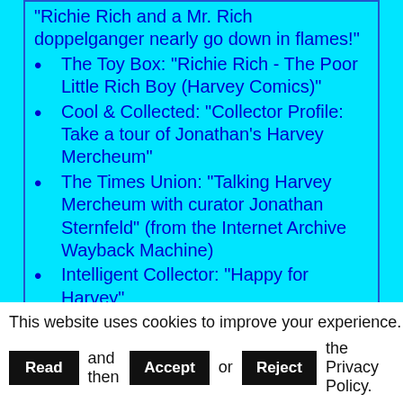"Richie Rich and a Mr. Rich doppelganger nearly go down in flames!"
The Toy Box: "Richie Rich - The Poor Little Rich Boy (Harvey Comics)"
Cool & Collected: "Collector Profile: Take a tour of Jonathan's Harvey Mercheum"
The Times Union: "Talking Harvey Mercheum with curator Jonathan Sternfeld" (from the Internet Archive Wayback Machine)
Intelligent Collector: "Happy for Harvey"
Scoop: "Harvey Mercheum Celebrates 5th Anniversary"
This website uses cookies to improve your experience. Please Read and then Accept or Reject the Privacy Policy.